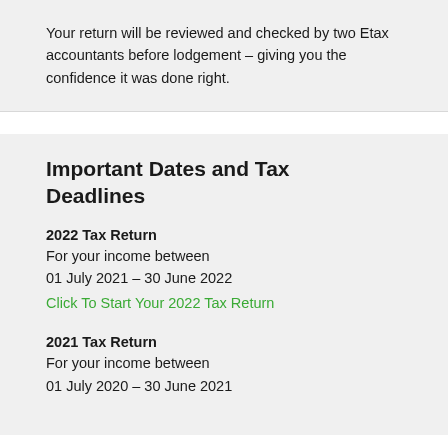Your return will be reviewed and checked by two Etax accountants before lodgement – giving you the confidence it was done right.
Important Dates and Tax Deadlines
2022 Tax Return
For your income between
01 July 2021 – 30 June 2022
Click To Start Your 2022 Tax Return
2021 Tax Return
For your income between
01 July 2020 – 30 June 2021